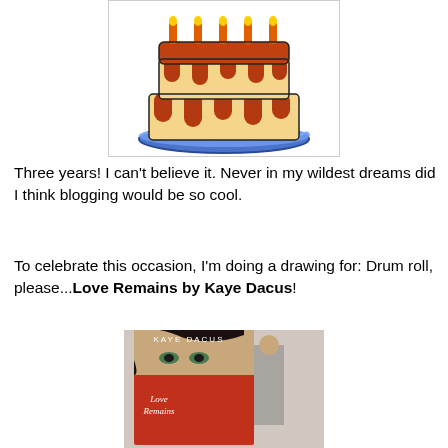[Figure (illustration): Cartoon illustration of a layered birthday cake with red/brown frosting dripping down the sides, sitting on a blue decorative plate. The cake has candles or decorative elements on top.]
Three years! I can't believe it. Never in my wildest dreams did I think blogging would be so cool.
To celebrate this occasion, I'm doing a drawing for: Drum roll, please...Love Remains by Kaye Dacus!
[Figure (illustration): Book cover of 'Love Remains' by Kaye Dacus. Shows a woman with dark curly hair holding a red book up to her face showing only her eyes, with a man visible in the background. The text 'KAYE DACUS' appears at the top and 'Love Remains' is written in cursive on the book.]